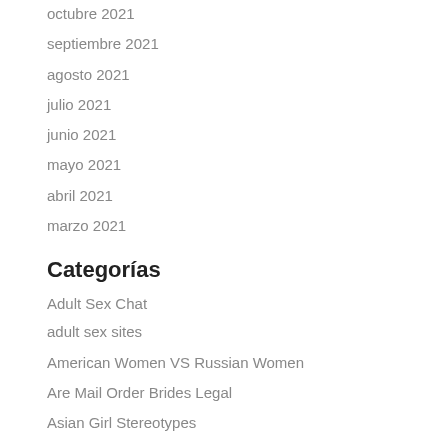octubre 2021
septiembre 2021
agosto 2021
julio 2021
junio 2021
mayo 2021
abril 2021
marzo 2021
Categorías
Adult Sex Chat
adult sex sites
American Women VS Russian Women
Are Mail Order Brides Legal
Asian Girl Stereotypes